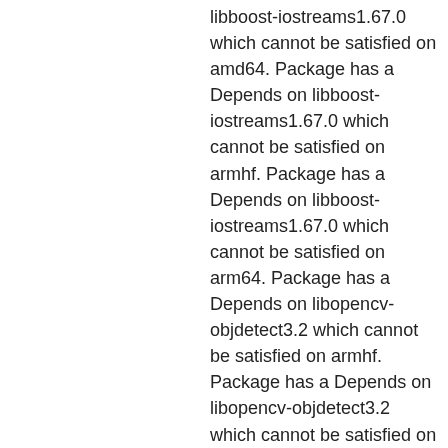libboost-iostreams1.67.0 which cannot be satisfied on amd64. Package has a Depends on libboost-iostreams1.67.0 which cannot be satisfied on armhf. Package has a Depends on libboost-iostreams1.67.0 which cannot be satisfied on arm64. Package has a Depends on libopencv-objdetect3.2 which cannot be satisfied on armhf. Package has a Depends on libopencv-objdetect3.2 which cannot be satisfied on arm64. Package has a Depends on libopencv-objdetect3.2 which cannot be satisfied on s390x. Package has a Depends on libopencv-objdetect3.2 which cannot be satisfied on mipsel. Package has a Depends on libopencv-objdetect3.2 which cannot be satisfied on i386. Package has a Depends on